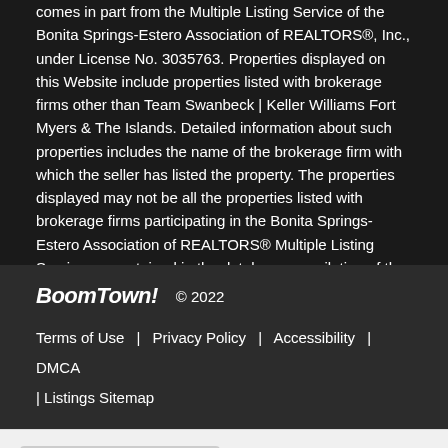comes in part from the Multiple Listing Service of the Bonita Springs-Estero Association of REALTORS®, Inc., under License No. 3035763. Properties displayed on this Website include properties listed with brokerage firms other than Team Swanbeck | Keller Williams Fort Myers & The Islands. Detailed information about such properties includes the name of the brokerage firm with which the seller has listed the property. The properties displayed may not be all the properties listed with brokerage firms participating in the Bonita Springs-Estero Association of REALTORS® Multiple Listing Service, or contained in the database compilation of the Bonita Springs-Estero Association of REALTORS® Multiple Listing Service. Data last updated 2022-09-05T23:28:33.62.
BoomTown! © 2022 | Terms of Use | Privacy Policy | Accessibility | DMCA | Listings Sitemap
Take a Tour
Ask A Question